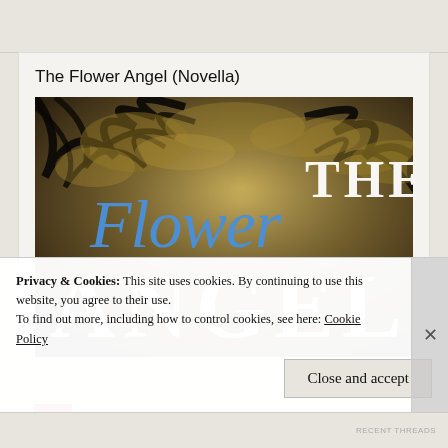The Flower Angel (Novella)
[Figure (illustration): Book cover for 'The Flower Angel' — dark forest/tree canopy background with golden-green tones. Text reads 'THE Flower ANGEL' where 'Flower' is in blue cursive script and 'THE' and 'ANGEL' are in white serif/display font.]
Privacy & Cookies: This site uses cookies. By continuing to use this website, you agree to their use.
To find out more, including how to control cookies, see here: Cookie Policy
Close and accept